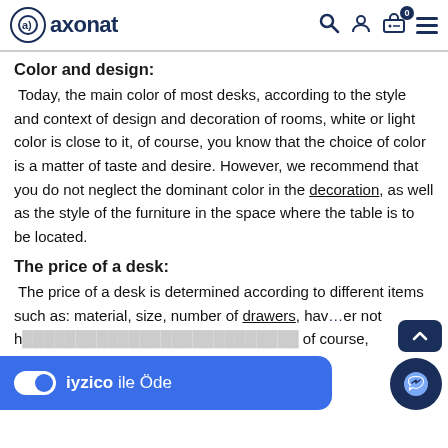axonat [navigation bar with search, account, cart (0), and menu icons]
Color and design:
Today, the main color of most desks, according to the style and context of design and decoration of rooms, white or light color is close to it, of course, you know that the choice of color is a matter of taste and desire. However, we recommend that you do not neglect the dominant color in the decoration, as well as the style of the furniture in the space where the table is to be located.
The price of a desk:
The price of a desk is determined according to different items such as: material, size, number of drawers, hav... or not h... of course, bett... physical size...